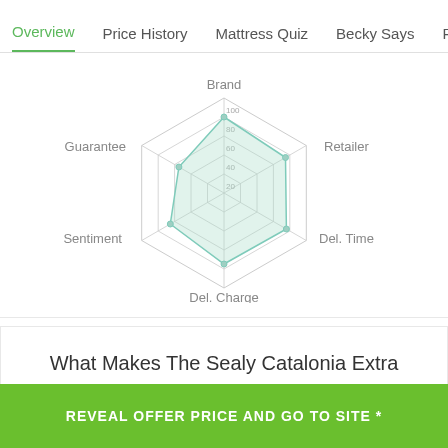Overview | Price History | Mattress Quiz | Becky Says | Pe
[Figure (radar-chart): Hexagonal radar chart with 6 axes: Brand (top), Retailer (top-right), Del. Time (right), Del. Charge (bottom), Sentiment (left), Guarantee (top-left). Concentric rings at 20, 40, 60, 80, 100. Filled area in light gray/mint green.]
What Makes The Sealy Catalonia Extra Firm Mattress Great?
REVEAL OFFER PRICE AND GO TO SITE *